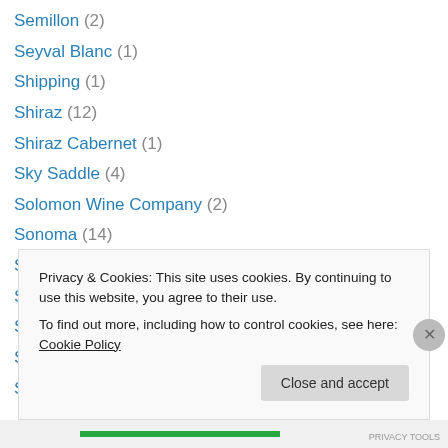Semillon (2)
Seyval Blanc (1)
Shipping (1)
Shiraz (12)
Shiraz Cabernet (1)
Sky Saddle (4)
Solomon Wine Company (2)
Sonoma (14)
South Africa (15)
Spain (24)
Sparkling wine (73)
Spittoon (5)
Stevenot (3)
Privacy & Cookies: This site uses cookies. By continuing to use this website, you agree to their use. To find out more, including how to control cookies, see here: Cookie Policy
Close and accept